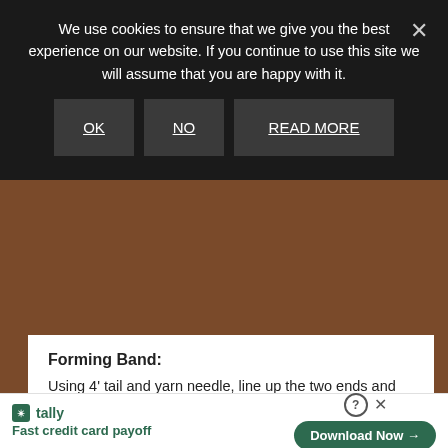We use cookies to ensure that we give you the best experience on our website. If you continue to use this site we will assume that you are happy with it.
[Figure (screenshot): Cookie consent dialog with three buttons: OK, NO, READ MORE on dark background]
Forming Band:
Using 4' tail and yarn needle, line up the two ends and whip stitch the seam and back loop stitches together to form the band.  Insert the hook into the working yarn and begin the body of the hat.
[Figure (screenshot): Tally ad banner: Fast credit card payoff with Download Now button]